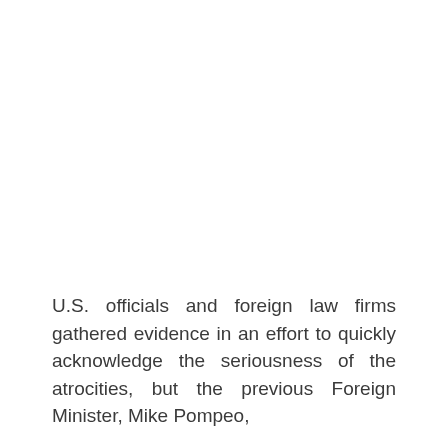U.S. officials and foreign law firms gathered evidence in an effort to quickly acknowledge the seriousness of the atrocities, but the previous Foreign Minister, Mike Pompeo,